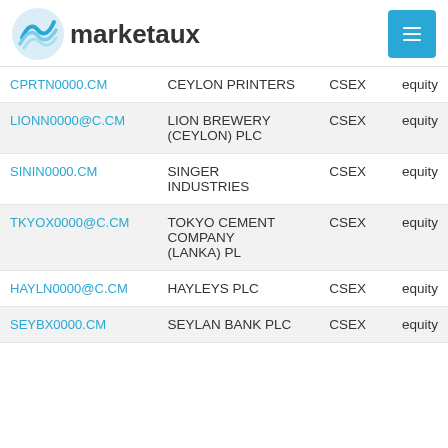marketaux
| Symbol | Name | Exchange | Type |
| --- | --- | --- | --- |
| CPRTN0000.CM | CEYLON PRINTERS | CSEX | equity |
| LIONN0000@C.CM | LION BREWERY (CEYLON) PLC | CSEX | equity |
| SININ0000.CM | SINGER INDUSTRIES | CSEX | equity |
| TKYOX0000@C.CM | TOKYO CEMENT COMPANY (LANKA) PL | CSEX | equity |
| HAYLN0000@C.CM | HAYLEYS PLC | CSEX | equity |
| SEYBX0000.CM | SEYLAN BANK PLC | CSEX | equity |